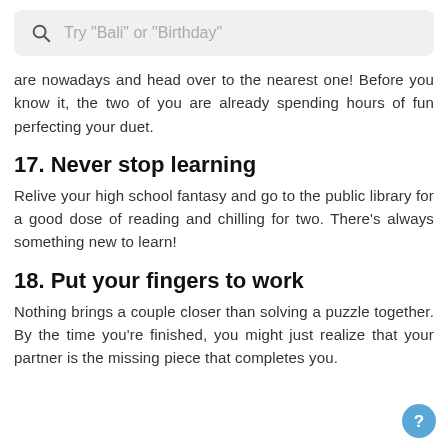[Figure (screenshot): Search bar with magnifying glass icon and placeholder text: Try "Bali" or "Birthday"]
are nowadays and head over to the nearest one! Before you know it, the two of you are already spending hours of fun perfecting your duet.
17. Never stop learning
Relive your high school fantasy and go to the public library for a good dose of reading and chilling for two. There's always something new to learn!
18. Put your fingers to work
Nothing brings a couple closer than solving a puzzle together. By the time you're finished, you might just realize that your partner is the missing piece that completes you.